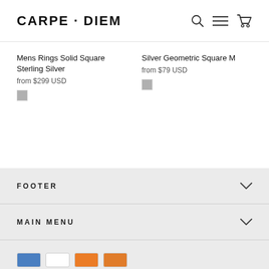CARPE · DIEM
Mens Rings Solid Square Sterling Silver
from $299 USD
Silver Geometric Square M
from $79 USD
FOOTER
MAIN MENU
CARPE · DIEM
Payment icons: American Express, Visa, Mastercard, Discover